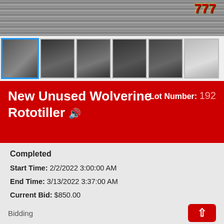[Figure (photo): Main product image of Wolverine Rototiller on asphalt/gravel background with 777 slot badge in top right corner]
[Figure (photo): Row of 6 thumbnail images of the Wolverine Rototiller from different angles; first thumbnail is selected with blue border]
New Unused Wolverine Rototiller 🔊  Lot Number: 192
Completed
Start Time: 2/2/2022 3:00:00 AM
End Time: 3/13/2022 3:37:00 AM
Current Bid: $850.00
Bid Count: 20
Starting Bid: $5.00
Bid Increment: $50.00
Bidding